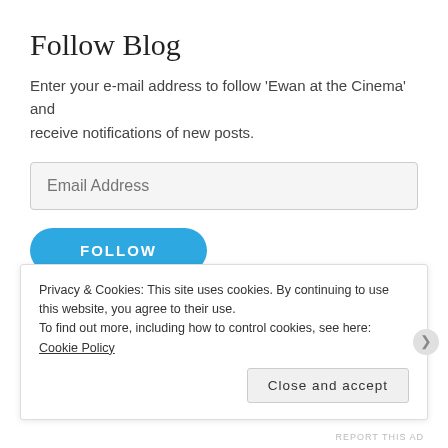Follow Blog
Enter your e-mail address to follow 'Ewan at the Cinema' and receive notifications of new posts.
Email Address
FOLLOW
Join 775 other followers
Privacy & Cookies: This site uses cookies. By continuing to use this website, you agree to their use.
To find out more, including how to control cookies, see here: Cookie Policy
Close and accept
REPORT THIS AD